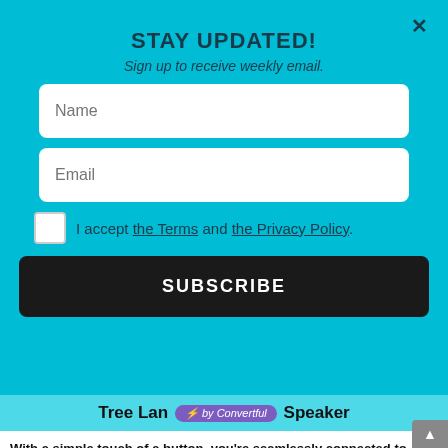STAY UPDATED!
Sign up to receive weekly email.
Name
Email
I accept the Terms and the Privacy Policy.
SUBSCRIBE
Tree Lamp [⚡ by Convertful] Speaker
With a simple touch of a button, you're seamlessly connected to your unique & beautiful state of the art with this 3 in 1 Bluetooth speaker & wireless charging lamp. Elegant and unique multi-purpose Tree lamp that frees you fro...
Via Amazon
CHECK IT OUT